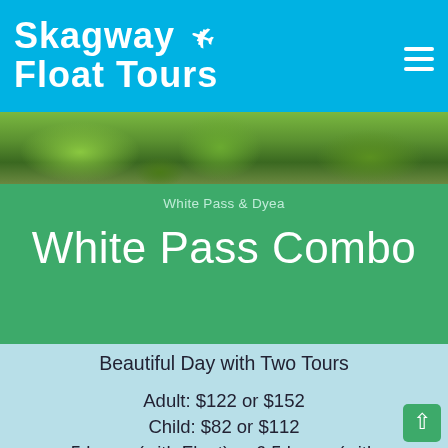Skagway Float Tours
[Figure (photo): Outdoor nature/mountain scenic strip photo showing green trees and rocky landscape]
White Pass & Dyea
White Pass Combo
Beautiful Day with Two Tours
Adult: $122 or $152
Child: $82 or $112
5 hours (with Float) or 6.5 hours (with